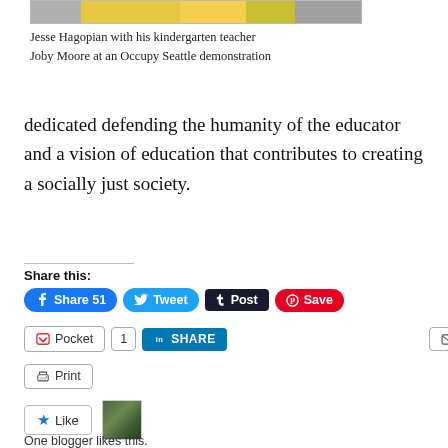[Figure (photo): Photo strip at top showing Jesse Hagopian with his kindergarten teacher Joby Moore at an Occupy Seattle demonstration]
Jesse Hagopian with his kindergarten teacher Joby Moore at an Occupy Seattle demonstration
dedicated defending the humanity of the educator and a vision of education that contributes to creating a socially just society.
Share this:
[Figure (screenshot): Social share buttons: Share 51 (Facebook), Tweet, Post (Tumblr), Save (Pinterest), Pocket, 1, SHARE (LinkedIn), Email, Print]
One blogger likes this.